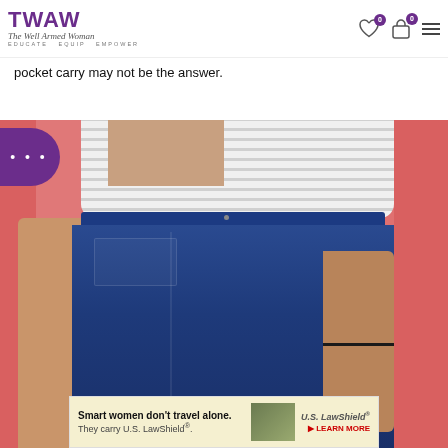TWAW – The Well Armed Woman – Educate Equip Empower
pocket carry may not be the answer.
[Figure (photo): Close-up photo of a woman in a striped white t-shirt and dark blue jeans standing against a pink wall, with a black bracelet on her right wrist.]
[Figure (infographic): Advertisement banner: Smart women don't travel alone. They carry U.S. LawShield®. U.S. LawShield® – LEARN MORE]